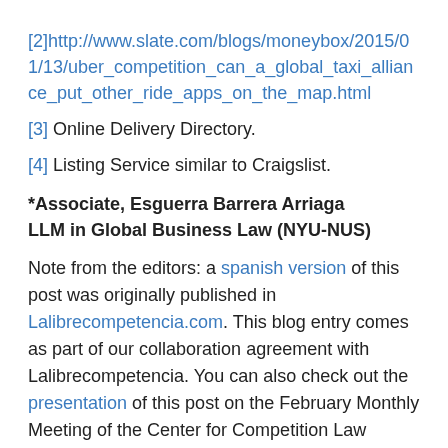[2]http://www.slate.com/blogs/moneybox/2015/01/13/uber_competition_can_a_global_taxi_alliance_put_other_ride_apps_on_the_map.html
[3] Online Delivery Directory.
[4] Listing Service similar to Craigslist.
*Associate, Esguerra Barrera Arriaga
LLM in Global Business Law (NYU-NUS)
Note from the editors: a spanish version of this post was originally published in Lalibrecompetencia.com. This blog entry comes as part of our collaboration agreement with Lalibrecompetencia. You can also check out the presentation of this post on the February Monthly Meeting of the Center for Competition Law Studies